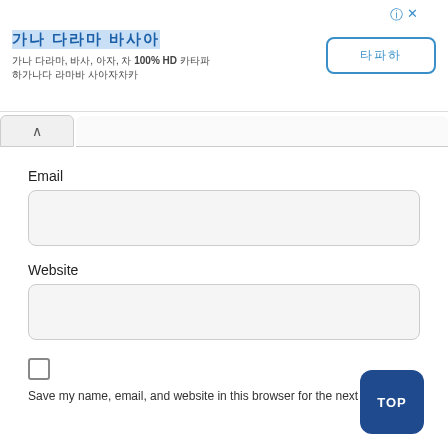[Figure (screenshot): Ad banner with Korean text title highlighted in blue, description text with '100% HD', and a bordered button with Korean text]
Email
Website
Save my name, email, and website in this browser for the next